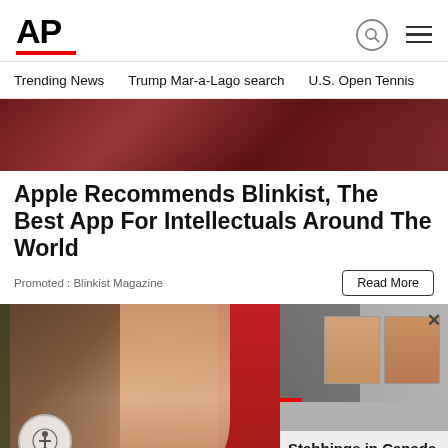AP
Trending News   Trump Mar-a-Lago search   U.S. Open Tennis
[Figure (photo): Person in red hoodie holding phone, hero image]
Apple Recommends Blinkist, The Best App For Intellectuals Around The World
Promoted : Blinkist Magazine
Read More
[Figure (photo): Smiling woman with hair blowing in front of face, Mexican flag background; overlaid news popup showing stabbing suspects mug shots and headline: Stabbings in Canada kill 10, wound 15; suspect...]